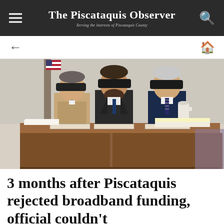The Piscataquis Observer — Serving the interests of Piscataquis County
[Figure (photo): Three officials seated behind a wooden dais at a county commissioners meeting. An American flag is visible on the left. Name placards are on the desk.]
3 months after Piscataquis rejected broadband funding, official couldn't